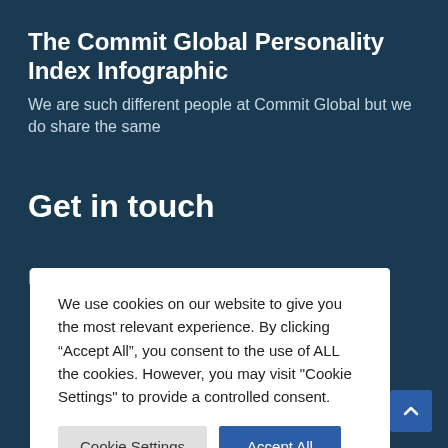The Commit Global Personality Index Infographic
We are such different people at Commit Global but we do share the same
Get in touch
Europe: info@commit-global.com
We use cookies on our website to give you the most relevant experience. By clicking “Accept All”, you consent to the use of ALL the cookies. However, you may visit "Cookie Settings" to provide a controlled consent.